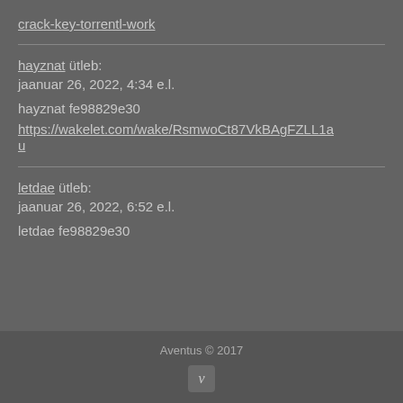crack-key-torrentl-work
hayznat ütleb:
jaanuar 26, 2022, 4:34 e.l.

hayznat fe98829e30
https://wakelet.com/wake/RsmwoCt87VkBAgFZLL1au
letdae ütleb:
jaanuar 26, 2022, 6:52 e.l.

letdae fe98829e30
Aventus © 2017